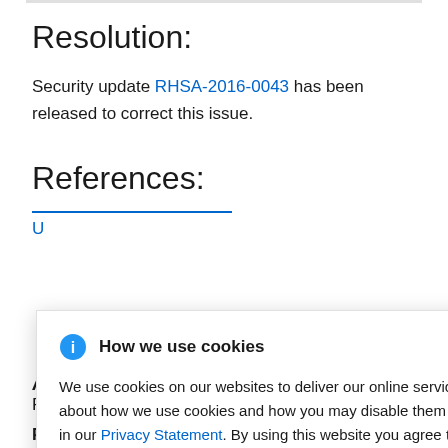Resolution:
Security update RHSA-2016-0043 has been released to correct this issue.
References:
How we use cookies
We use cookies on our websites to deliver our online services. Details about how we use cookies and how you may disable them are set out in our Privacy Statement. By using this website you agree to our use of cookies.